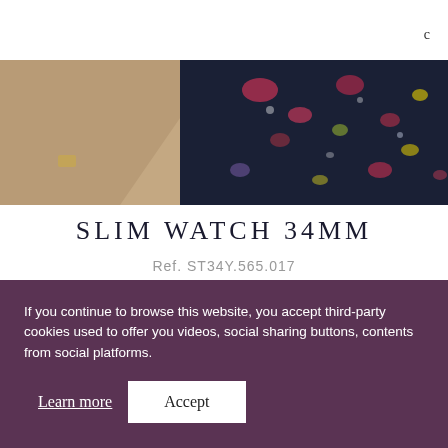[Figure (photo): Hero band image showing a woman wearing a watch with floral dark dress background]
SLIM WATCH 34MM
Ref. ST34Y.565.017
[Figure (photo): Watch strap close-up showing dark braided cable bracelet with gold clasp]
If you continue to browse this website, you accept third-party cookies used to offer you videos, social sharing buttons, contents from social platforms.
Learn more
Accept